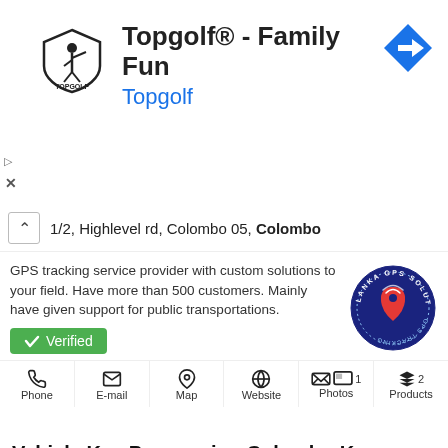[Figure (screenshot): Topgolf advertisement banner with logo, title 'Topgolf® - Family Fun', subtitle 'Topgolf', and blue navigation arrow icon]
1/2, Highlevel rd, Colombo 05, Colombo
GPS tracking service provider with custom solutions to your field. Have more than 500 customers. Mainly have given support for public transportations.
[Figure (logo): Lanka GPS Solutions circular logo with GPS pin icon]
Verified
Phone  E-mail  Map  Website  1 Photos  2 Products
Vehicle Key Programing Colombo-Key World
No 387, Darly Road,Colombo 10, Colombo
Key World is a leading government registered vehicle key programing service in Colombo, Sri Lanka. The key programming shop is located at No 387, Darly Road,
[Figure (photo): Key World business card/photo showing contact numbers 533-6194 and 412-2234]